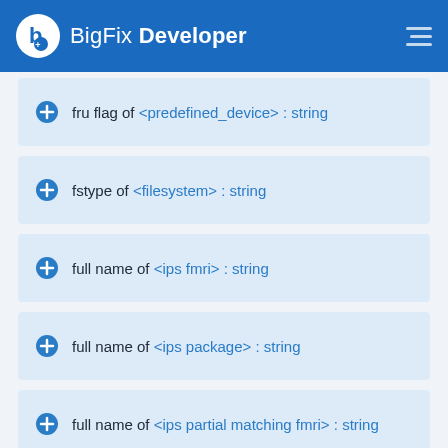BigFix Developer
fru flag of <predefined_device> : string
fstype of <filesystem> : string
full name of <ips fmri> : string
full name of <ips package> : string
full name of <ips partial matching fmri> : string
full name of <ips version dependency> : string